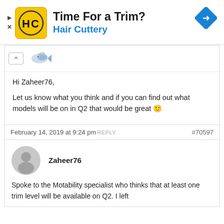[Figure (infographic): Advertisement banner for Hair Cuttery with yellow logo, text 'Time For a Trim? Hair Cuttery', blue navigation arrow icon, and ad controls.]
Hi Zaheer76,
Let us know what you think and if you can find out what models will be on in Q2 that would be great 🙂
February 14, 2019 at 9:24 pm REPLY  #70597
Zaheer76
Spoke to the Motability specialist who thinks that at least one trim level will be available on Q2. I left